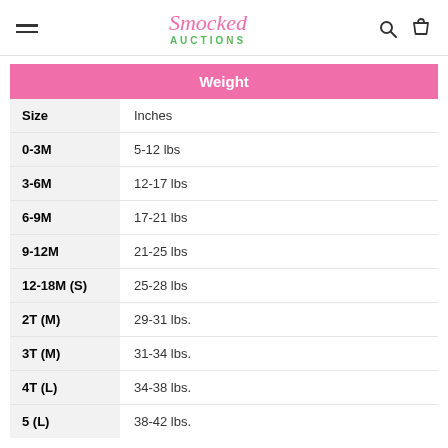Smocked Auctions
| Size | Weight |
| --- | --- |
| Size | Inches |
| 0-3M | 5-12 lbs |
| 3-6M | 12-17 lbs |
| 6-9M | 17-21 lbs |
| 9-12M | 21-25 lbs |
| 12-18M (S) | 25-28 lbs |
| 2T (M) | 29-31 lbs. |
| 3T (M) | 31-34 lbs. |
| 4T (L) | 34-38 lbs. |
| 5 (L) | 38-42 lbs. |